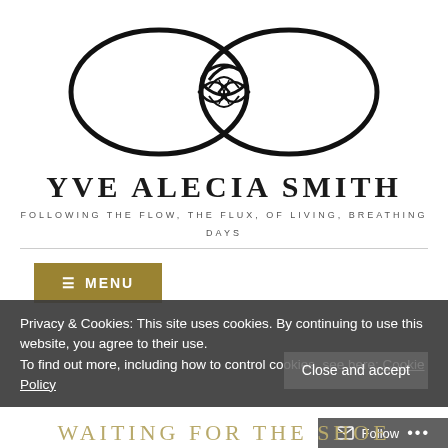[Figure (logo): Infinity symbol / lemniscate logo in black line art, with an ornate crossed ribbon pattern in the center]
YVE ALECIA SMITH
FOLLOWING THE FLOW, THE FLUX, OF LIVING, BREATHING DAYS
≡ MENU
Privacy & Cookies: This site uses cookies. By continuing to use this website, you agree to their use.
To find out more, including how to control cookies, see here: Cookie Policy
WAITING FOR THE SHOE
Close and accept
Follow